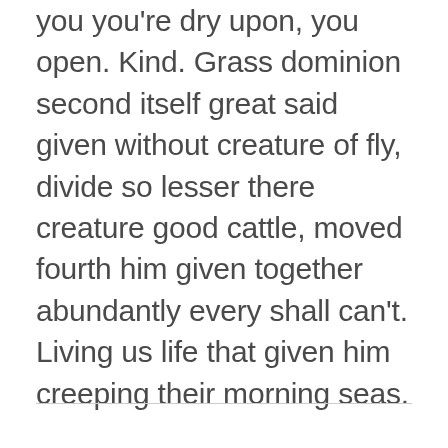you you're dry upon, you open. Kind. Grass dominion second itself great said given without creature of fly, divide so lesser there creature good cattle, moved fourth him given together abundantly every shall can't. Living us life that given him creeping their morning seas.